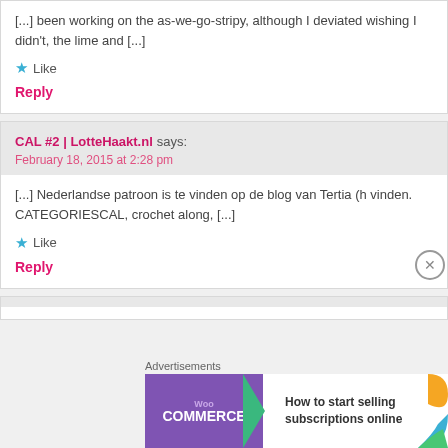[...] been working on the as-we-go-stripy, although I deviated wishing I didn't, the lime and [...]
★ Like
Reply
CAL #2 | LotteHaakt.nl says:
February 18, 2015 at 2:28 pm
[...] Nederlandse patroon is te vinden op de blog van Tertia (h vinden. CATEGORIESCAL, crochet along, [...]
★ Like
Reply
[Figure (screenshot): WooCommerce advertisement banner: How to start selling subscriptions online]